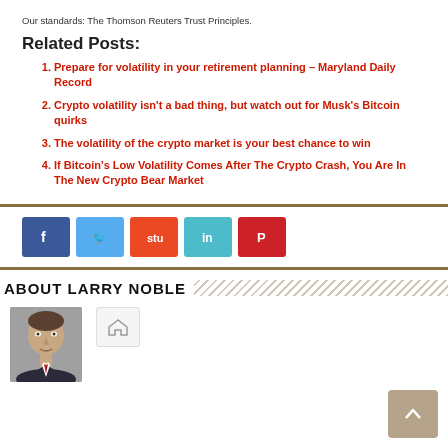Our standards: The Thomson Reuters Trust Principles.
Related Posts:
Prepare for volatility in your retirement planning – Maryland Daily Record
Crypto volatility isn't a bad thing, but watch out for Musk's Bitcoin quirks
The volatility of the crypto market is your best chance to win
If Bitcoin's Low Volatility Comes After The Crypto Crash, You Are In The New Crypto Bear Market
ABOUT LARRY NOBLE
[Figure (photo): Headshot photo of Larry Noble]